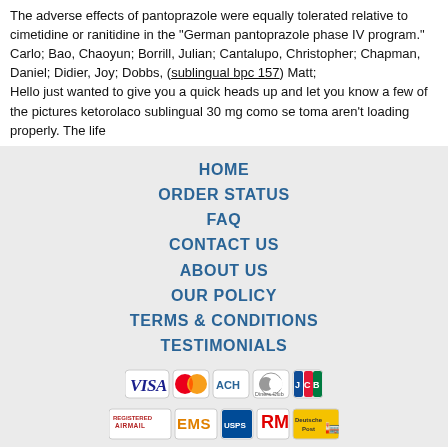The adverse effects of pantoprazole were equally tolerated relative to cimetidine or ranitidine in the "German pantoprazole phase IV program."
Carlo; Bao, Chaoyun; Borrill, Julian; Cantalupo, Christopher; Chapman, Daniel; Didier, Joy; Dobbs, (sublingual bpc 157) Matt;
Hello just wanted to give you a quick heads up and let you know a few of the pictures ketorolaco sublingual 30 mg como se toma aren't loading properly. The life
HOME
ORDER STATUS
FAQ
CONTACT US
ABOUT US
OUR POLICY
TERMS & CONDITIONS
TESTIMONIALS
[Figure (other): Payment method icons: VISA, MasterCard, ACH, Diners Club, JCB]
[Figure (other): Shipping icons: Registered Airmail, EMS, USPS, Royal Mail, Deutsche Post]